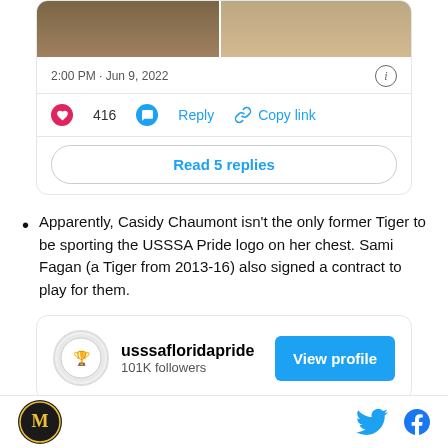[Figure (screenshot): Tweet card showing two sports photos side by side, timestamp '2:00 PM · Jun 9, 2022', 416 likes, Reply and Copy link actions, and 'Read 5 replies' button]
Apparently, Casidy Chaumont isn't the only former Tiger to be sporting the USSSA Pride logo on her chest. Sami Fagan (a Tiger from 2013-16) also signed a contract to play for them.
[Figure (screenshot): Social media profile card for usssafloridapride with 101K followers and a 'View profile' button]
Footer with M logo on left and Twitter and Facebook icons on right